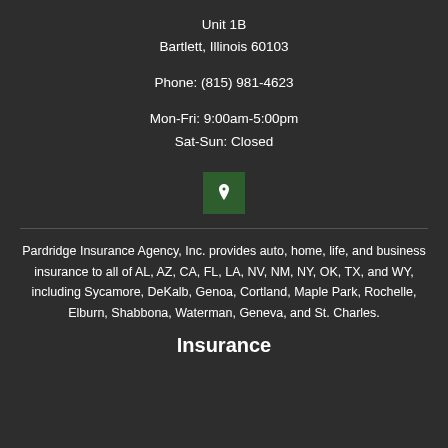Unit 1B
Bartlett, Illinois 60103
Phone: (815) 981-4623
Mon-Fri: 9:00am-5:00pm
Sat-Sun: Closed
[Figure (other): Green map location pin icon button]
Pardridge Insurance Agency, Inc. provides auto, home, life, and business insurance to all of AL, AZ, CA, FL, LA, NV, NM, NY, OK, TX, and WY, including Sycamore, DeKalb, Genoa, Cortland, Maple Park, Rochelle, Elburn, Shabbona, Waterman, Geneva, and St. Charles.
Insurance